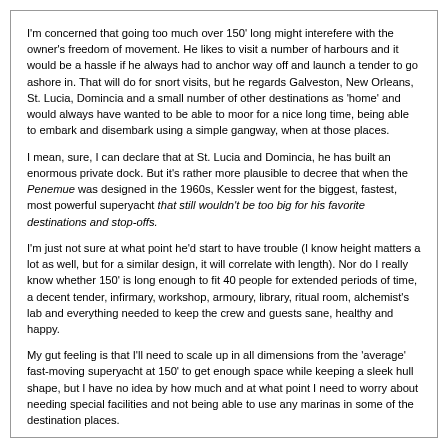I'm concerned that going too much over 150' long might interefere with the owner's freedom of movement. He likes to visit a number of harbours and it would be a hassle if he always had to anchor way off and launch a tender to go ashore in. That will do for snort visits, but he regards Galveston, New Orleans, St. Lucia, Domincia and a small number of other destinations as 'home' and would always have wanted to be able to moor for a nice long time, being able to embark and disembark using a simple gangway, when at those places.
I mean, sure, I can declare that at St. Lucia and Domincia, he has built an enormous private dock. But it's rather more plausible to decree that when the Penemue was designed in the 1960s, Kessler went for the biggest, fastest, most powerful superyacht that still wouldn't be too big for his favorite destinations and stop-offs.
I'm just not sure at what point he'd start to have trouble (I know height matters a lot as well, but for a similar design, it will correlate with length). Nor do I really know whether 150' is long enough to fit 40 people for extended periods of time, a decent tender, infirmary, workshop, armoury, library, ritual room, alchemist's lab and everything needed to keep the crew and guests sane, healthy and happy.
My gut feeling is that I'll need to scale up in all dimensions from the 'average' fast-moving superyacht at 150' to get enough space while keeping a sleek hull shape, but I have no idea by how much and at what point I need to worry about needing special facilities and not being able to use any marinas in some of the destination places.